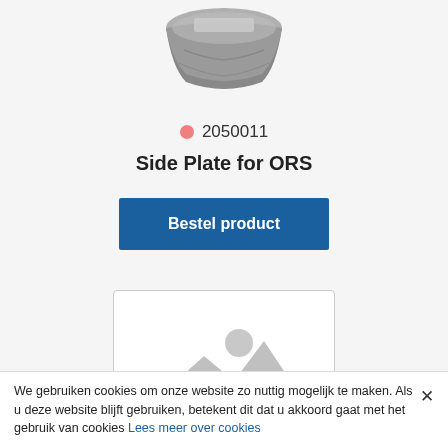[Figure (photo): Product photo of a Side Plate for ORS, shown folded/stacked, gray metallic color, top portion of page]
2050011
Side Plate for ORS
Bestel product
[Figure (photo): Second product image placeholder with gray mountain/landscape icon on white background with rounded border]
We gebruiken cookies om onze website zo nuttig mogelijk te maken. Als u deze website blijft gebruiken, betekent dit dat u akkoord gaat met het gebruik van cookies Lees meer over cookies